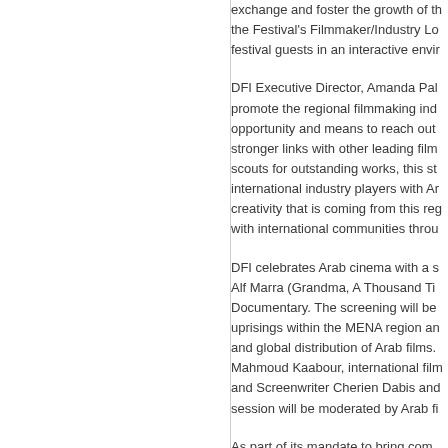exchange and foster the growth of the Festival's Filmmaker/Industry Lo festival guests in an interactive envir
DFI Executive Director, Amanda Pal promote the regional filmmaking ind opportunity and means to reach out stronger links with other leading film scouts for outstanding works, this st international industry players with Ar creativity that is coming from this reg with international communities throu
DFI celebrates Arab cinema with a s Alf Marra (Grandma, A Thousand Ti Documentary. The screening will be uprisings within the MENA region an and global distribution of Arab films. Mahmoud Kaabour, international film and Screenwriter Cherien Dabis and session will be moderated by Arab fi
As part of its mandate to bring comm